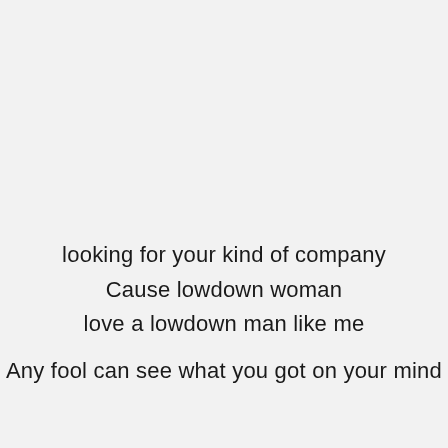looking for your kind of company
Cause lowdown woman
love a lowdown man like me

Any fool can see what you got on your mind